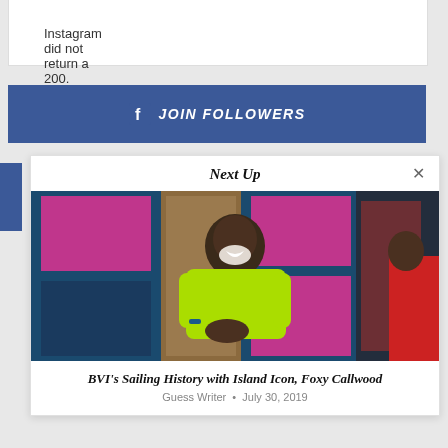Instagram did not return a 200.
[Figure (other): Facebook JOIN FOLLOWERS button bar with Facebook icon]
Next Up
[Figure (photo): A smiling man wearing a lime green t-shirt standing in front of colorful pink and blue doors]
BVI's Sailing History with Island Icon, Foxy Callwood
Guess Writer • July 30, 2019